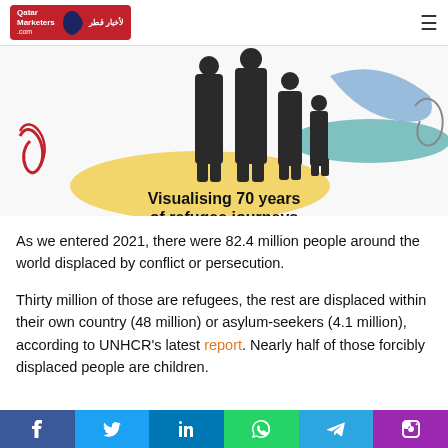Qatar Marketers - لأخبار قطر
[Figure (illustration): Infographic header image: 'Visualising 70 years of refugee journeys' with silhouettes of people and colorful abstract shapes]
As we entered 2021, there were 82.4 million people around the world displaced by conflict or persecution.
Thirty million of those are refugees, the rest are displaced within their own country (48 million) or asylum-seekers (4.1 million), according to UNHCR's latest report. Nearly half of those forcibly displaced people are children.
f  t  in  WhatsApp  Telegram  Phone